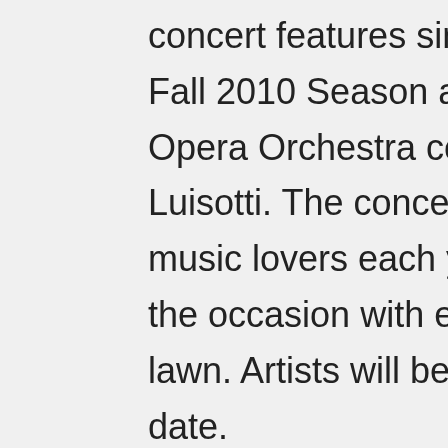concert features singers from the Company's Fall 2010 Season and the San Francisco Opera Orchestra conducted by Maestro Luisotti. The concert draws thousands of music lovers each year, many of whom enjoy the occasion with elaborate picnics on the lawn. Artists will be announced at a later date.
Webcor Builders Presents Opera at the Ballpark / Saturday, September 24
San Francisco Opera partners with the San Francisco Giants and Webcor Builders once again to bring grand opera to AT&T Park, home of the San Francisco Giants baseball team on